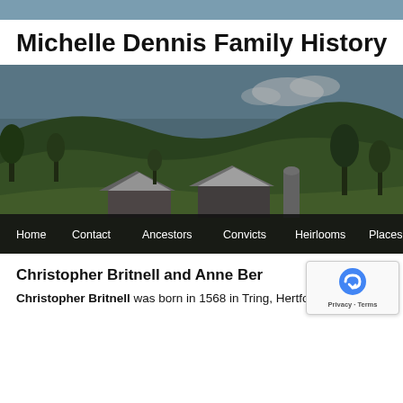Michelle Dennis Family History
[Figure (photo): Rural farm landscape with green rolling hills, trees, and farm buildings including barns and a silo. Navigation bar at bottom shows: Home, Contact, Ancestors, Convicts, Heirlooms, Places]
Christopher Britnell and Anne Ber...
Christopher Britnell was born in 1568 in Tring, Hertfordshire,